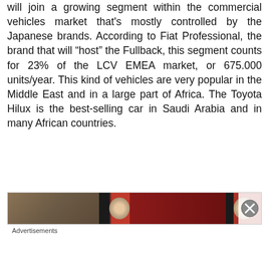will join a growing segment within the commercial vehicles market that's mostly controlled by the Japanese brands. According to Fiat Professional, the brand that will “host” the Fullback, this segment counts for 23% of the LCV EMEA market, or 675.000 units/year. This kind of vehicles are very popular in the Middle East and in a large part of Africa. The Toyota Hilux is the best-selling car in Saudi Arabia and in many African countries.
[Figure (photo): Advertisement banner image showing cars, partially visible, with a close button (X) on the right side]
Advertisements